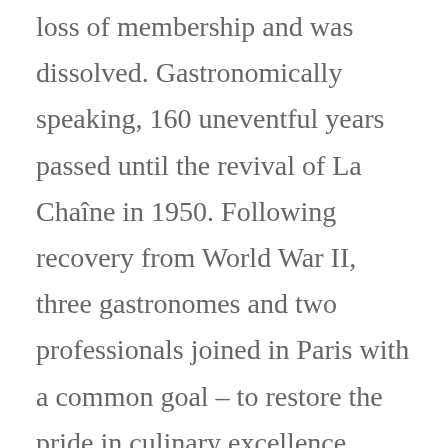loss of membership and was dissolved. Gastronomically speaking, 160 uneventful years passed until the revival of La Chaîne in 1950. Following recovery from World War II, three gastronomes and two professionals joined in Paris with a common goal – to restore the pride in culinary excellence which had been lost during a period of wartime shortages. In that year La